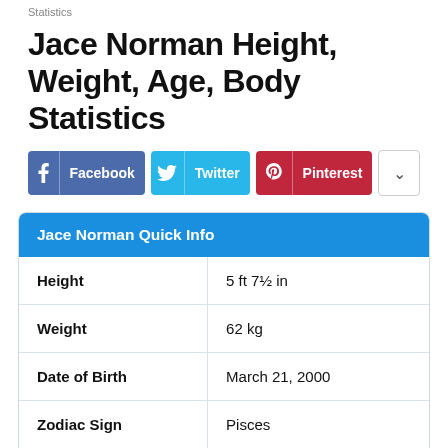Statistics
Jace Norman Height, Weight, Age, Body Statistics
[Figure (infographic): Social sharing buttons for Facebook, Twitter, Pinterest, and a dropdown more button]
|  |  |
| --- | --- |
| Height | 5 ft 7½ in |
| Weight | 62 kg |
| Date of Birth | March 21, 2000 |
| Zodiac Sign | Pisces |
| Eye Color | Dark Brown |